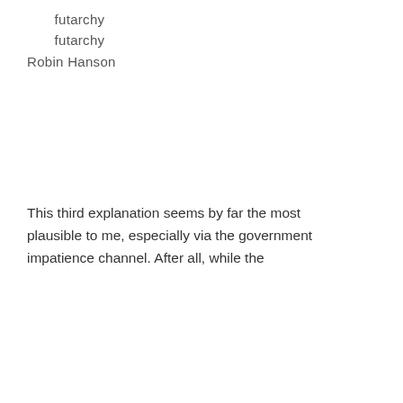futarchy　　　　　
　　futarchy　　　　　
Robin Hanson
This third explanation seems by far the most plausible to me, especially via the government impatience channel. After all, while the